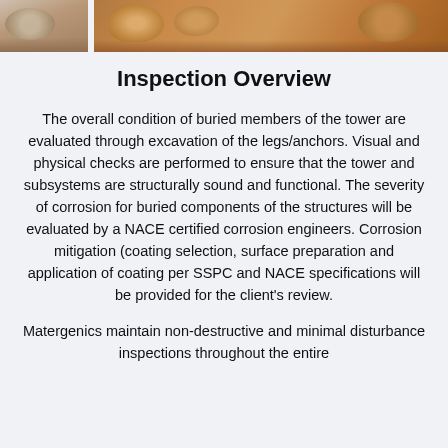[Figure (photo): Photograph strip at top showing buried tower components with corrosion, split into two sections separated by a white gap]
Inspection Overview
The overall condition of buried members of the tower are evaluated through excavation of the legs/anchors. Visual and physical checks are performed to ensure that the tower and subsystems are structurally sound and functional. The severity of corrosion for buried components of the structures will be evaluated by a NACE certified corrosion engineers. Corrosion mitigation (coating selection, surface preparation and application of coating per SSPC and NACE specifications will be provided for the client’s review.
Matergenics maintain non-destructive and minimal disturbance inspections throughout the entire